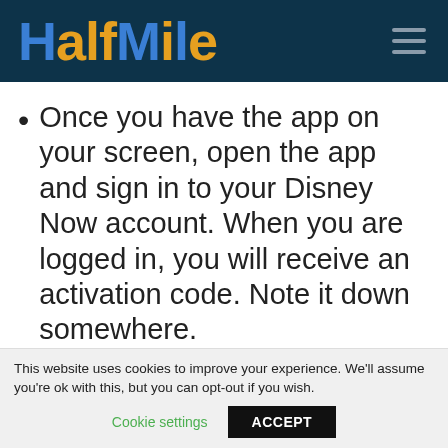[Figure (logo): HalfMile logo in blue and orange on dark teal background with hamburger menu icon]
Once you have the app on your screen, open the app and sign in to your Disney Now account. When you are logged in, you will receive an activation code. Note it down somewhere.
Now you have to go to the activation page through your other device from the web
This website uses cookies to improve your experience. We'll assume you're ok with this, but you can opt-out if you wish.
Cookie settings   ACCEPT